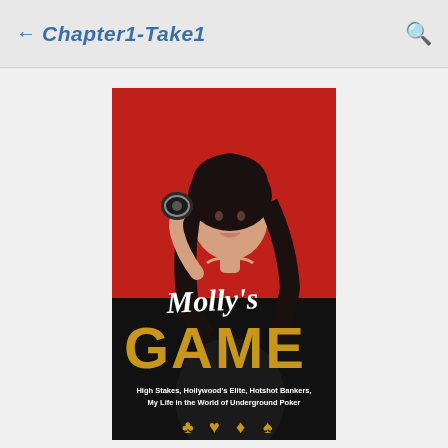← Chapter1-Take1
[Figure (photo): Book cover of 'Molly's Game' showing a woman in black dress holding a poker chip against a red background, with large gold text reading GAME and subtitle 'High Stakes, Hollywood's Elite, Hotshot Bankers, My Life in the World of Underground Poker']